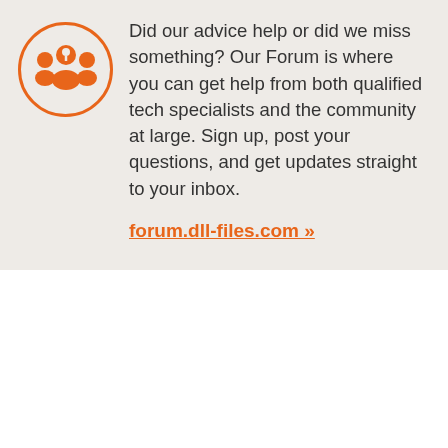[Figure (illustration): Orange circle icon with three human figures representing a community/forum group]
Did our advice help or did we miss something? Our Forum is where you can get help from both qualified tech specialists and the community at large. Sign up, post your questions, and get updates straight to your inbox.
forum.dll-files.com »